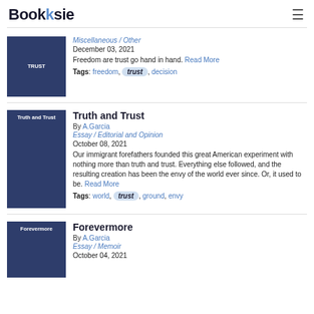Booksie
TRUST | Miscellaneous / Other | December 03, 2021 | Freedom are trust go hand in hand. Read More | Tags: freedom, trust, decision
Truth and Trust | By A.Garcia | Essay / Editorial and Opinion | October 08, 2021 | Our immigrant forefathers founded this great American experiment with nothing more than truth and trust. Everything else followed, and the resulting creation has been the envy of the world ever since. Or, it used to be. Read More | Tags: world, trust, ground, envy
Forevermore | By A.Garcia | Essay / Memoir | October 04, 2021